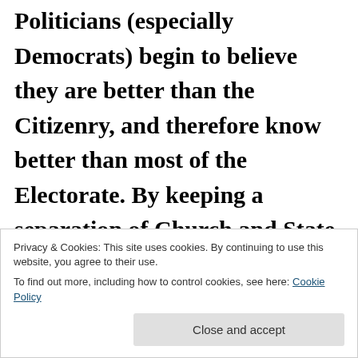Politicians (especially Democrats) begin to believe they are better than the Citizenry, and therefore know better than most of the Electorate. By keeping a separation of Church and State, Politicians are free to say your Freedoms are a product of Government, to be
Privacy & Cookies: This site uses cookies. By continuing to use this website, you agree to their use. To find out more, including how to control cookies, see here: Cookie Policy